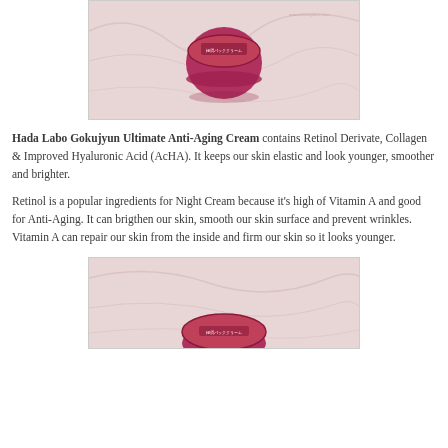[Figure (photo): Photo of Hada Labo Gokujyun Anti-Aging Cream jar (pink/red) on white fabric background, viewed from above showing the lid]
Hada Labo Gokujyun Ultimate Anti-Aging Cream contains Retinol Derivate, Collagen & Improved Hyaluronic Acid (AcHA). It keeps our skin elastic and look younger, smoother and brighter.
Retinol is a popular ingredients for Night Cream because it's high of Vitamin A and good for Anti-Aging. It can brigthen our skin, smooth our skin surface and prevent wrinkles. Vitamin A can repair our skin from the inside and firm our skin so it looks younger.
[Figure (photo): Photo of Hada Labo Gokujyun Anti-Aging Cream jar (pink/red) on white fabric, showing partial view of the jar from above]